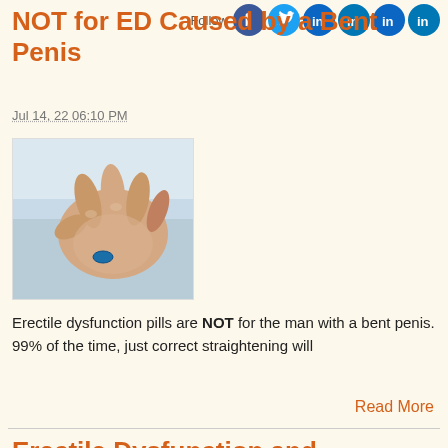NOT for ED Caused by a Bent Penis
Follow
Jul 14, 22 06:10 PM
[Figure (photo): A hand holding a small blue pill against a white background]
Erectile dysfunction pills are NOT for the man with a bent penis. 99% of the time, just correct straightening will
Read More
Erectile Dysfunction and Treatments When You Have a